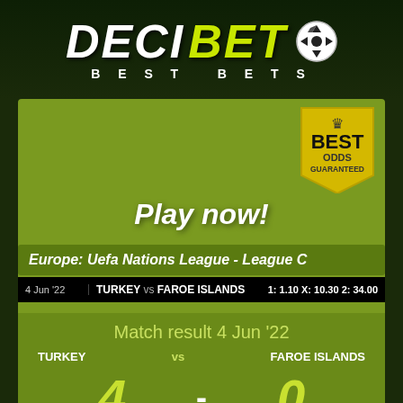[Figure (logo): Decibet logo with soccer ball and 'BEST BETS' subtitle]
[Figure (infographic): Best Odds Guaranteed badge in yellow/gold]
Play now!
Europe: Uefa Nations League - League C
| Date | Match | Odds |
| --- | --- | --- |
| 4 Jun '22 | TURKEY vs FAROE ISLANDS | 1: 1.10 X: 10.30 2: 34.00 |
Match result 4 Jun '22
TURKEY vs FAROE ISLANDS
4 - 0